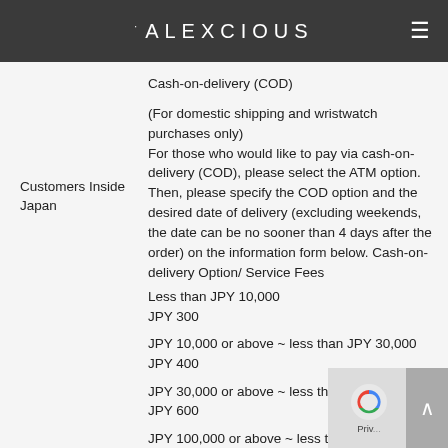ALEXCIOUS
Cash-on-delivery (COD)
Customers Inside Japan
(For domestic shipping and wristwatch purchases only)
For those who would like to pay via cash-on-delivery (COD), please select the ATM option. Then, please specify the COD option and the desired date of delivery (excluding weekends, the date can be no sooner than 4 days after the order) on the information form below. Cash-on-delivery Option/ Service Fees
Less than JPY 10,000
JPY 300
JPY 10,000 or above ~ less than JPY 30,000
JPY 400
JPY 30,000 or above ~ less than JPY 100,000
JPY 600
JPY 100,000 or above ~ less than JPY 30...
JPY 1000
Square (no handling fees)